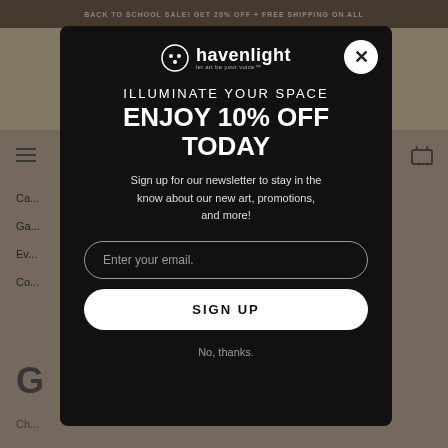BACK TO SCHOOL SALE! GET 20% OFF + FREE SHIPPING ON ALL
[Figure (screenshot): Havenlight e-commerce website background with navigation and category links partially visible behind modal overlay]
ILLUMINATE YOUR SPACE
ENJOY 10% OFF TODAY
Sign up for our newsletter to stay in the know about our new art, promotions, and more!
Enter your email.
SIGN UP
No, thanks.